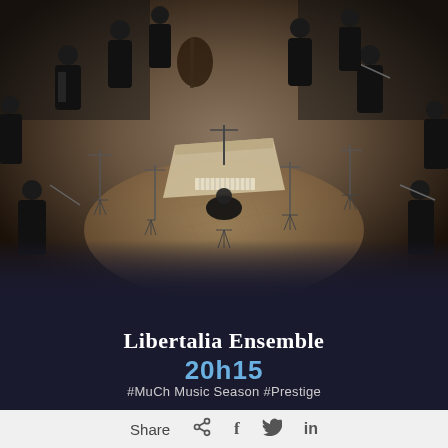[Figure (photo): Overhead/bird's-eye view of the Libertalia Ensemble chamber orchestra performing on stage. Musicians dressed in black surround a harpsichord in the center, playing string instruments on an ornate tiled floor.]
Libertalia Ensemble
20h15
#MuCh Music Season #Prestige
Share